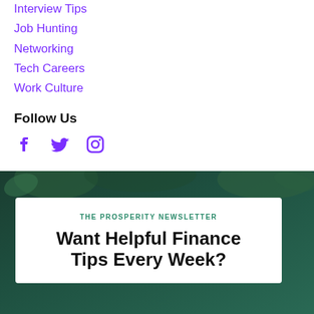Interview Tips
Job Hunting
Networking
Tech Careers
Work Culture
Follow Us
[Figure (illustration): Social media icons: Facebook, Twitter, Instagram in purple]
[Figure (photo): Dark teal background photo with a white newsletter card overlay showing 'THE PROSPERITY NEWSLETTER' and 'Want Helpful Finance Tips Every Week?']
THE PROSPERITY NEWSLETTER
Want Helpful Finance Tips Every Week?